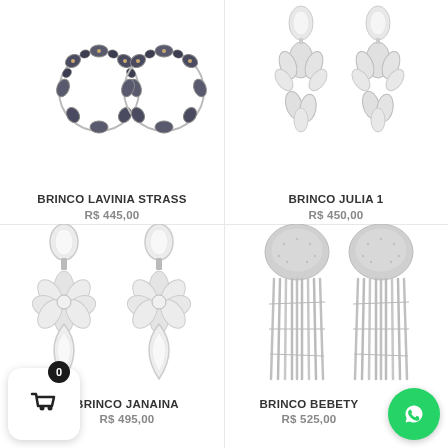[Figure (photo): Black crystal flower hoop earrings - BRINCO LAVINIA STRASS product image]
BRINCO LAVINIA STRASS
R$ 445,00
[Figure (photo): Silver crystal leaf drop earrings - BRINCO JULIA 1 product image]
BRINCO JULIA 1
R$ 450,00
[Figure (photo): Clear crystal flower and teardrop drop earrings - BRINCO JANAINA product image]
BRINCO JANAINA
R$ 495,00
[Figure (photo): Silver tassel fringe earrings with crystal ball top - BRINCO BEBETY product image]
BRINCO BEBETY
R$ 525,00